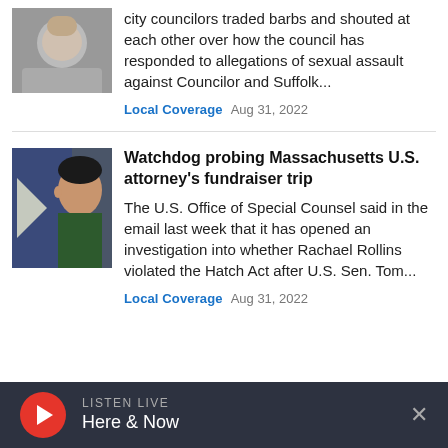[Figure (photo): Thumbnail photo of a person in formal attire, upper body visible]
city councilors traded barbs and shouted at each other over how the council has responded to allegations of sexual assault against Councilor and Suffolk...
Local Coverage  Aug 31, 2022
[Figure (photo): Thumbnail photo of a woman in front of a flag]
Watchdog probing Massachusetts U.S. attorney's fundraiser trip
The U.S. Office of Special Counsel said in the email last week that it has opened an investigation into whether Rachael Rollins violated the Hatch Act after U.S. Sen. Tom...
Local Coverage  Aug 31, 2022
LISTEN LIVE  Here & Now